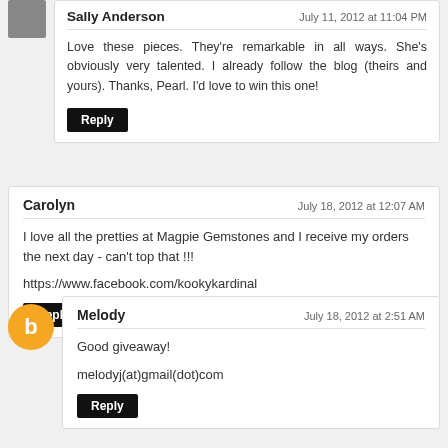Sally Anderson
July 11, 2012 at 11:04 PM
Love these pieces. They're remarkable in all ways. She's obviously very talented. I already follow the blog (theirs and yours). Thanks, Pearl. I'd love to win this one!
Reply
Carolyn
July 18, 2012 at 12:07 AM
I love all the pretties at Magpie Gemstones and I receive my orders the next day - can't top that !!!
https://www.facebook.com/kookykardinal
Reply
Melody
July 18, 2012 at 2:51 AM
Good giveaway!
melodyj(at)gmail(dot)com
Reply